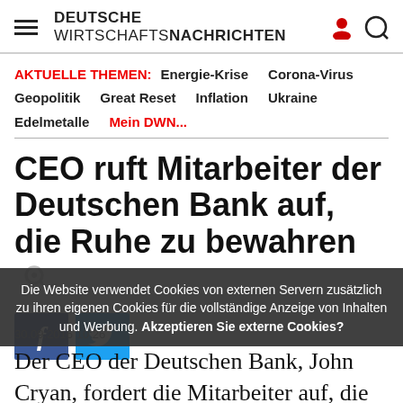DEUTSCHE WIRTSCHAFTSNACHRICHTEN
AKTUELLE THEMEN: Energie-Krise   Corona-Virus   Geopolitik   Great Reset   Inflation   Ukraine   Edelmetalle   Mein DWN...
CEO ruft Mitarbeiter der Deutschen Bank auf, die Ruhe zu bewahren
30.09.2016 10:26
Die Website verwendet Cookies von externen Servern zusätzlich zu ihren eigenen Cookies für die vollständige Anzeige von Inhalten und Werbung. Akzeptieren Sie externe Cookies?
Der CEO der Deutschen Bank, John Cryan, fordert die Mitarbeiter auf, die Ruhe zu bewahren. Seiner Einschätzung nach